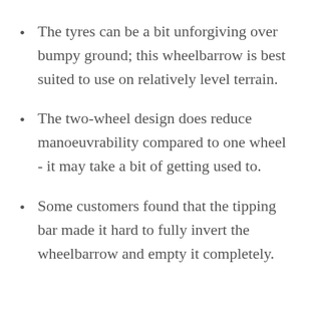The tyres can be a bit unforgiving over bumpy ground; this wheelbarrow is best suited to use on relatively level terrain.
The two-wheel design does reduce manoeuvrability compared to one wheel - it may take a bit of getting used to.
Some customers found that the tipping bar made it hard to fully invert the wheelbarrow and empty it completely.